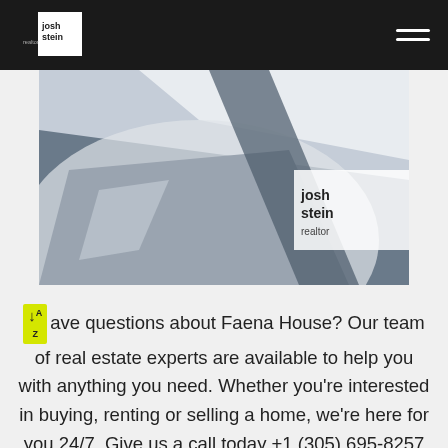[Figure (logo): Josh Stein Realtor logo on dark nav bar with hamburger menu]
[Figure (photo): Close-up photo of a vehicle or boat surface with Josh Stein realtor branding text visible]
Have questions about Faena House? Our team of real estate experts are available to help you with anything you need. Whether you're interested in buying, renting or selling a home, we're here for you 24/7. Give us a call today +1 (305) 695-8257 or email us at hello@joshsteinrealtor.com